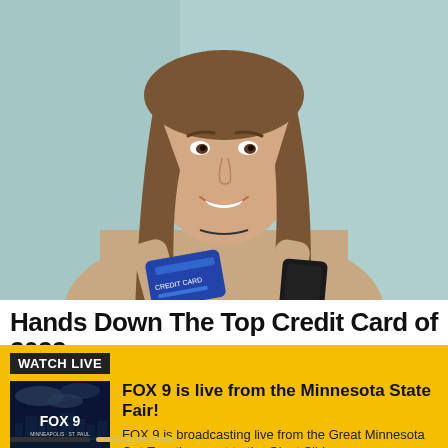[Figure (photo): Woman smiling, holding a blue credit card in one hand and a smartphone in the other hand, against a light teal/mint background. She has long brown hair and is wearing a beige top.]
Hands Down The Top Credit Card of 2022
[Figure (screenshot): FOX 9 Watch Live notification bar. Yellow background with 'WATCH LIVE' badge in black. FOX 9 thumbnail image on left showing Minneapolis skyline at dusk. Headline: 'FOX 9 is live from the Minnesota State Fair!' Body text: 'FOX 9 is broadcasting live from the Great Minnesota Get-Together, next to the Giant Slide.' Close button (X) in top right corner. Progress bar at bottom.]